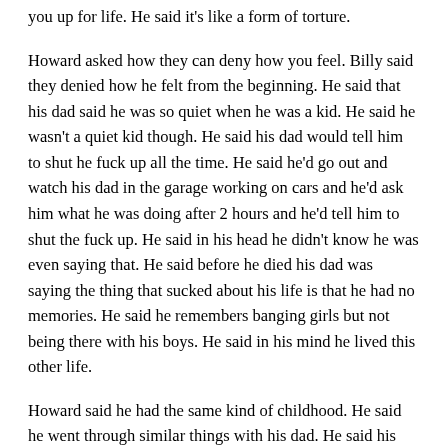you up for life. He said it's like a form of torture.
Howard asked how they can deny how you feel. Billy said they denied how he felt from the beginning. He said that his dad said he was so quiet when he was a kid. He said he wasn't a quiet kid though. He said his dad would tell him to shut he fuck up all the time. He said he'd go out and watch his dad in the garage working on cars and he'd ask him what he was doing after 2 hours and he'd tell him to shut the fuck up. He said in his head he didn't know he was even saying that. He said before he died his dad was saying the thing that sucked about his life is that he had no memories. He said he remembers banging girls but not being there with his boys. He said in his mind he lived this other life.
Howard said he had the same kind of childhood. He said he went through similar things with his dad. He said his father was a great carpenter and he would go watch him make something and he'd tell him to get the fuck out of there. He said that it all comes through in that song. He said he can't write a hit song about it though. Perry said maybe he's just not talented. Howard said maybe that's it.
Howard played another Smashing Pumpkins song. He said that he saw that Billy got to sing "All the Young dudes" with